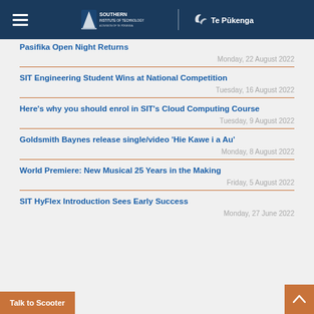Southern Institute of Technology | Te Pūkenga
Pasifika Open Night Returns — Monday, 22 August 2022
SIT Engineering Student Wins at National Competition — Tuesday, 16 August 2022
Here's why you should enrol in SIT's Cloud Computing Course — Tuesday, 9 August 2022
Goldsmith Baynes release single/video 'Hie Kawe i a Au' — Monday, 8 August 2022
World Premiere: New Musical 25 Years in the Making — Friday, 5 August 2022
SIT HyFlex Introduction Sees Early Success — Monday, 27 June 2022